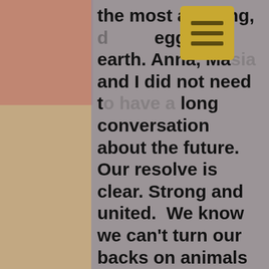the most amazing, dance eggs on earth. Anna, Masia and I did not need to have a long conversation about the future. Our resolve is clear. Strong and united.  We know we can't turn our backs on animals in need.

This is our life, you see – looking after creatures who cannot save themselves. Our work is infinitely important and gratifying. Yes, it will take time to rebuild. No, we will never bring back the lives of those animals we lost in the fire. But WE WILL restore paradise for those who were spared, and for those we have